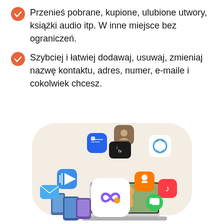Przenieś pobrane, kupione, ulubione utwory, książki audio itp. W inne miejsce bez ograniczeń.
Szybciej i łatwiej dodawaj, usuwaj, zmieniaj nazwę kontaktu, adres, numer, e-maile i cokolwiek chcesz.
[Figure (illustration): Illustration of various app icons (Contacts, Apple TV, Final Cut Pro, Mail, Classroom, Music, Messages, and others) floating around a laptop and mobile devices, with a central infinity/Setapp-like logo, on a beige rounded rectangle background.]